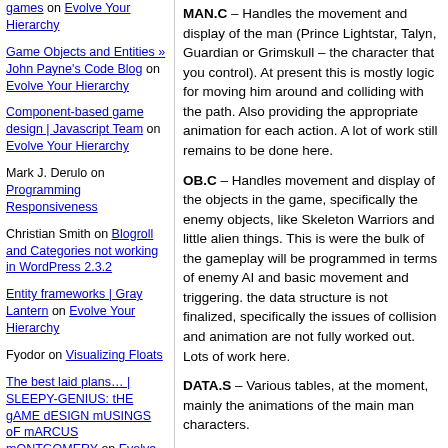games on Evolve Your Hierarchy
Game Objects and Entities » John Payne's Code Blog on Evolve Your Hierarchy
Component-based game design | Javascript Team on Evolve Your Hierarchy
Mark J. Derulo on Programming Responsiveness
Christian Smith on Blogroll and Categories not working in WordPress 2.3.2
Entity frameworks | Gray Lantern on Evolve Your Hierarchy
Fyodor on Visualizing Floats
The best laid plans… | SLEEPY-GENIUS: tHE gAME dESIGN mUSINGS oF mARCUS mONTGOMERY on Evolve Your Hierarchy
Clojure Entity Component System | resatori on Evolve Your Hierarchy
Complex Functionality Using Component Systems on Evolve Your Hierarchy
Refactoring Fun « Hydroxic-Acid on Evolve Your Hierarchy
MAN.C – Handles the movement and display of the man (Prince Lightstar, Talyn, Guardian or Grimskull – the character that you control). At present this is mostly logic for moving him around and colliding with the path. Also providing the appropriate animation for each action. A lot of work still remains to be done here.
OB.C – Handles movement and display of the objects in the game, specifically the enemy objects, like Skeleton Warriors and little alien things. This is were the bulk of the gameplay will be programmed in terms of enemy AI and basic movement and triggering. the data structure is not finalized, specifically the issues of collision and animation are not fully worked out. Lots of work here.
DATA.S – Various tables, at the moment, mainly the animations of the main man characters.
LAYER.C – The scrolling of the parallax backgrounds. Updates the character mapped backgrounds and scroll the bitmaps. Also does line scroll (the wavy effect) on the fog layer. At the moment the maps for the character mapped layers are stored uncompressed. They need to be compressed in the RLE format I was using on the genesis version. This task may fall to Ken if we...